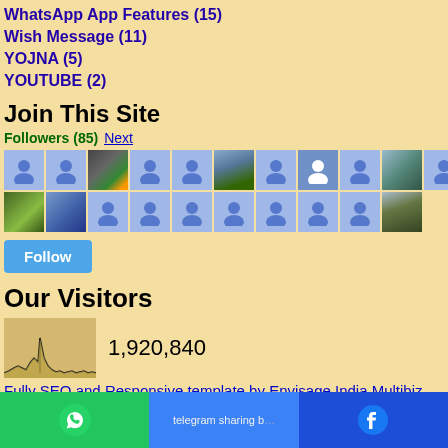WhatsApp App Features (15)
Wish Message (11)
YOJNA (5)
YOUTUBE (2)
Join This Site
Followers (85) Next
[Figure (photo): Grid of follower avatars, 85 followers shown as profile photo thumbnails and default person icons]
Follow
Our Visitors
[Figure (continuous-plot): Visitor traffic histogram/sparkline chart showing traffic spikes]
1,920,840
Fully SEO and Responsive template by Envisage India Multibiz
WhatsApp share | telegram sharing button | Facebook share